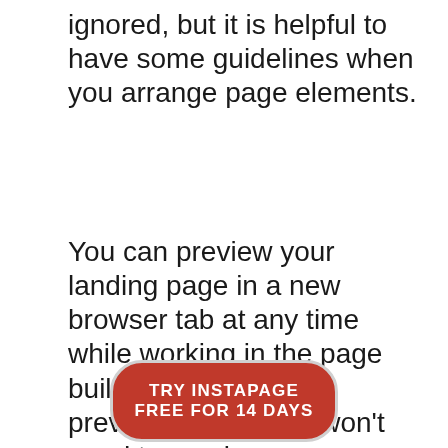ignored, but it is helpful to have some guidelines when you arrange page elements.
You can preview your landing page in a new browser tab at any time while working in the page builder by clicking the preview button. You won't need to preview your design often, however, since the page builder offers a WYSIWYG interface. Your design should look exactly like it did in the editor after it's been published.
TRY INSTAPAGE FREE FOR 14 DAYS